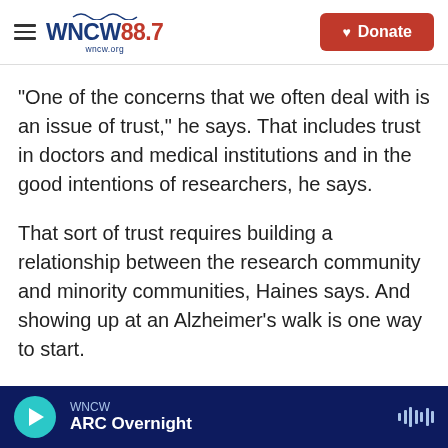WNCW 88.7 | Donate
"One of the concerns that we often deal with is an issue of trust," he says. That includes trust in doctors and medical institutions and in the good intentions of researchers, he says.
That sort of trust requires building a relationship between the research community and minority communities, Haines says. And showing up at an Alzheimer's walk is one way to start.
The comments of several African Americans at the walk suggest Case Western's efforts may be paying off.
WNCW | ARC Overnight